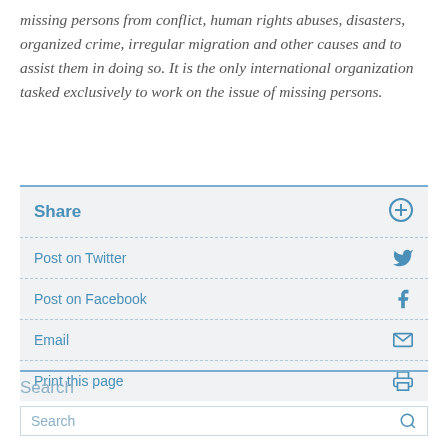missing persons from conflict, human rights abuses, disasters, organized crime, irregular migration and other causes and to assist them in doing so. It is the only international organization tasked exclusively to work on the issue of missing persons.
Share
Post on Twitter
Post on Facebook
Email
Print this page
Search
Search